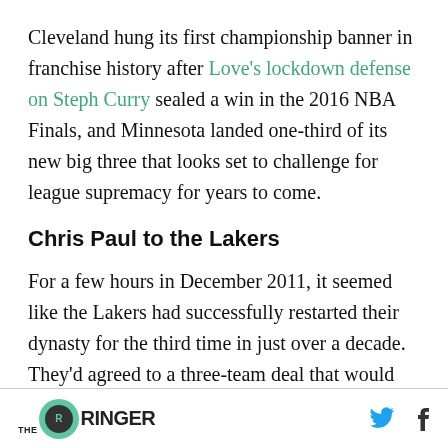Cleveland hung its first championship banner in franchise history after Love's lockdown defense on Steph Curry sealed a win in the 2016 NBA Finals, and Minnesota landed one-third of its new big three that looks set to challenge for league supremacy for years to come.
Chris Paul to the Lakers
For a few hours in December 2011, it seemed like the Lakers had successfully restarted their dynasty for the third time in just over a decade. They'd agreed to a three-team deal that would
THE RINGER